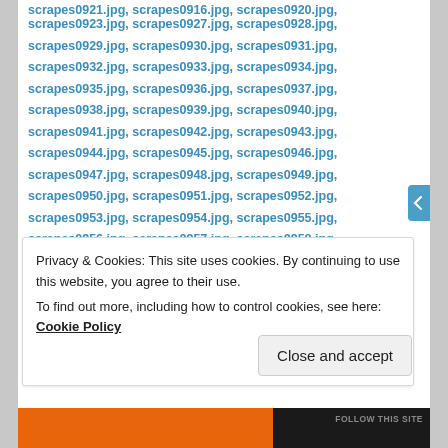scrapes0923.jpg, scrapes0927.jpg, scrapes0928.jpg, scrapes0929.jpg, scrapes0930.jpg, scrapes0931.jpg, scrapes0932.jpg, scrapes0933.jpg, scrapes0934.jpg, scrapes0935.jpg, scrapes0936.jpg, scrapes0937.jpg, scrapes0938.jpg, scrapes0939.jpg, scrapes0940.jpg, scrapes0941.jpg, scrapes0942.jpg, scrapes0943.jpg, scrapes0944.jpg, scrapes0945.jpg, scrapes0946.jpg, scrapes0947.jpg, scrapes0948.jpg, scrapes0949.jpg, scrapes0950.jpg, scrapes0951.jpg, scrapes0952.jpg, scrapes0953.jpg, scrapes0954.jpg, scrapes0955.jpg, scrapes0956.jpg, scrapes0957.jpg, scrapes0958.jpg, scrapes0959.jpg, scrapes0960.jpg, scrapes0961.jpg, scrapes0962.jpg, scrapes0963.jpg, scrapes0964.jpg, scrapes0965.jpg, scrapes0966.jpg, scrapes0967.jpg, scrapes0968.jpg, scrapes0969.jpg, scrapes0970.jpg, scrapes0971.jpg, scrapes0972.jpg, scrapes0973.jpg
Privacy & Cookies: This site uses cookies. By continuing to use this website, you agree to their use. To find out more, including how to control cookies, see here: Cookie Policy